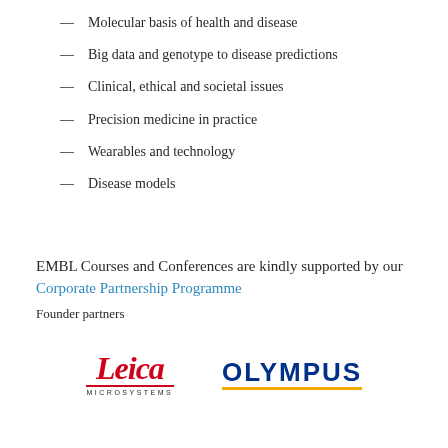Molecular basis of health and disease
Big data and genotype to disease predictions
Clinical, ethical and societal issues
Precision medicine in practice
Wearables and technology
Disease models
EMBL Courses and Conferences are kindly supported by our Corporate Partnership Programme
Founder partners
[Figure (logo): Leica Microsystems logo in red italic script with red underline and 'MICROSYSTEMS' in small caps below]
[Figure (logo): Olympus logo in bold dark blue uppercase letters with yellow underline]